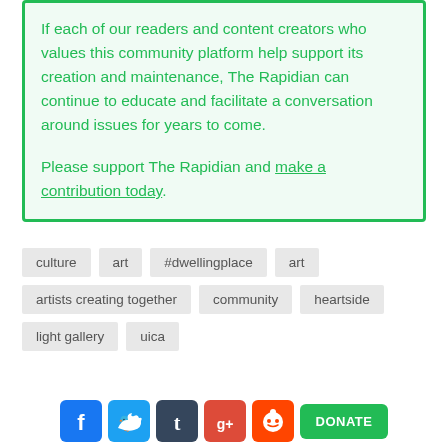If each of our readers and content creators who values this community platform help support its creation and maintenance, The Rapidian can continue to educate and facilitate a conversation around issues for years to come.

Please support The Rapidian and make a contribution today.
culture
art
#dwellingplace
art
artists creating together
community
heartside
light gallery
uica
[Figure (infographic): Social media icons: Facebook, Twitter, Tumblr, Google+, Reddit, and a green DONATE button]